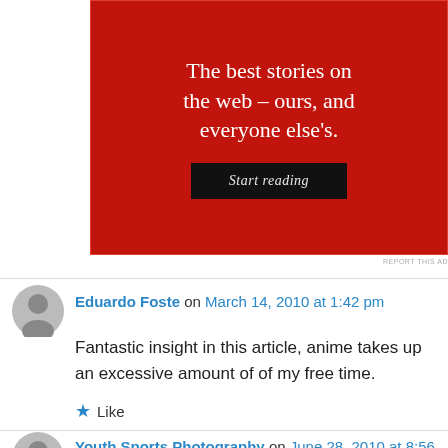[Figure (screenshot): Red advertisement banner with text 'The best stories on the web – ours, and everyone else's.' and a black 'Start reading' button]
REPORT THIS AD
Eduardo Foste on March 14, 2010 at 1:42 pm
Fantastic insight in this article, anime takes up an excessive amount of of my free time.
★ Like
Youth Sports Photography on June 28, 2010 at 8:56